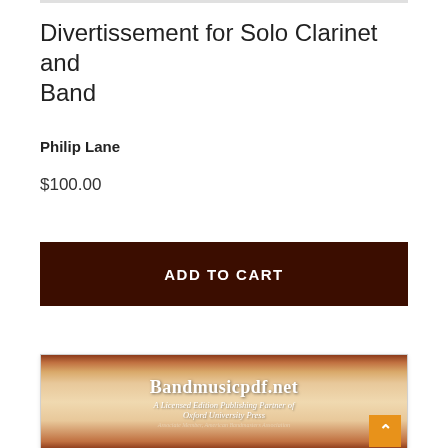Divertissement for Solo Clarinet and Band
Philip Lane
$100.00
ADD TO CART
[Figure (logo): Bandmusicpdf.net banner — A Licensed Edition Publishing Partner of Oxford University Press. Associate Member, American Bandmasters Association.]